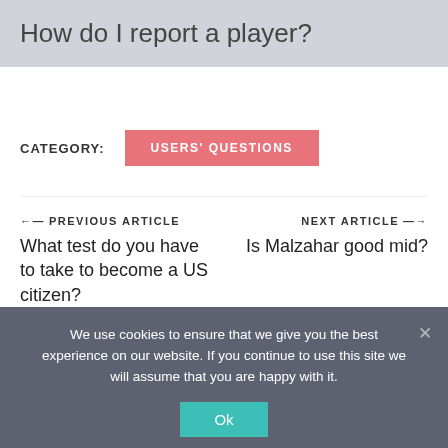How do I report a player?
CATEGORY:  USERS' QUESTIONS
← PREVIOUS ARTICLE
What test do you have to take to become a US citizen?
NEXT ARTICLE →
Is Malzahar good mid?
We use cookies to ensure that we give you the best experience on our website. If you continue to use this site we will assume that you are happy with it.
RECENT POSTS